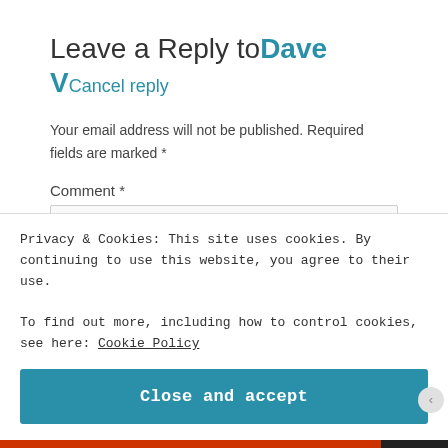Leave a Reply to Dave V Cancel reply
Your email address will not be published. Required fields are marked *
Comment *
Privacy & Cookies: This site uses cookies. By continuing to use this website, you agree to their use.
To find out more, including how to control cookies, see here: Cookie Policy
Close and accept